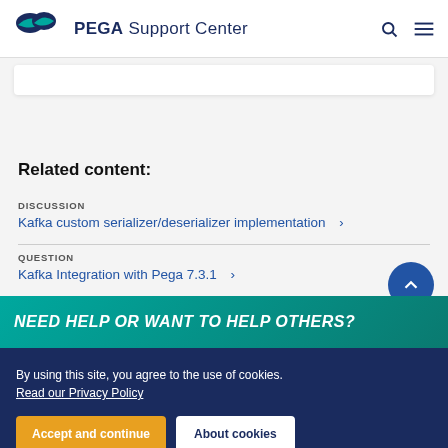PEGA Support Center
Related content:
DISCUSSION
Kafka custom serializer/deserializer implementation >
QUESTION
Kafka Integration with Pega 7.3.1 >
NEED HELP OR WANT TO HELP OTHERS?
By using this site, you agree to the use of cookies.
Read our Privacy Policy
Accept and continue
About cookies